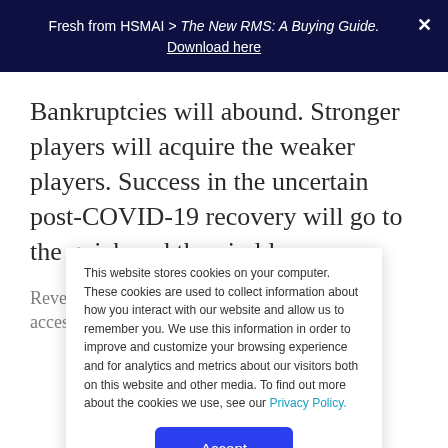Fresh from HSMAI > The New RMS: A Buying Guide. Download here
Bankruptcies will abound. Stronger players will acquire the weaker players. Success in the uncertain post-COVID-19 recovery will go to the quick and the nimble.
Revenue Managers are poised to adapt. We have access
This website stores cookies on your computer. These cookies are used to collect information about how you interact with our website and allow us to remember you. We use this information in order to improve and customize your browsing experience and for analytics and metrics about our visitors both on this website and other media. To find out more about the cookies we use, see our Privacy Policy.